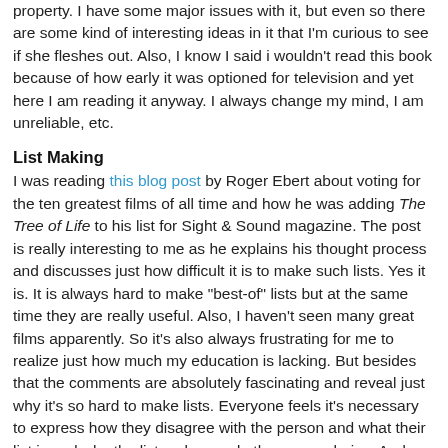property. I have some major issues with it, but even so there are some kind of interesting ideas in it that I'm curious to see if she fleshes out. Also, I know I said i wouldn't read this book because of how early it was optioned for television and yet here I am reading it anyway. I always change my mind, I am unreliable, etc.
List Making
I was reading this blog post by Roger Ebert about voting for the ten greatest films of all time and how he was adding The Tree of Life to his list for Sight & Sound magazine. The post is really interesting to me as he explains his thought process and discusses just how difficult it is to make such lists. Yes it is. It is always hard to make "best-of" lists but at the same time they are really useful. Also, I haven't seen many great films apparently. So it's also always frustrating for me to realize just how much my education is lacking. But besides that the comments are absolutely fascinating and reveal just why it's so hard to make lists. Everyone feels it's necessary to express how they disagree with the person and what their list is and why the list maker made the wrong choice. And they can also get pretty nasty. Everyone thinks their own